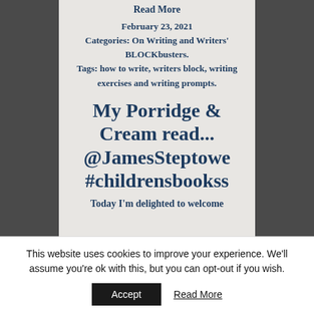Read More
February 23, 2021
Categories: On Writing and Writers' BLOCKbusters.
Tags: how to write, writers block, writing exercises and writing prompts.
My Porridge & Cream read... @JamesSteptowe #childrensbookss
Today I'm delighted to welcome
This website uses cookies to improve your experience. We'll assume you're ok with this, but you can opt-out if you wish.
Accept  Read More